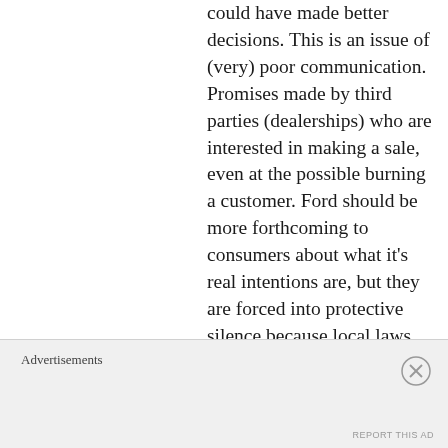could have made better decisions. This is an issue of (very) poor communication. Promises made by third parties (dealerships) who are interested in making a sale, even at the possible burning a customer. Ford should be more forthcoming to consumers about what it's real intentions are, but they are forced into protective silence because local laws and ordinances force them to
Advertisements